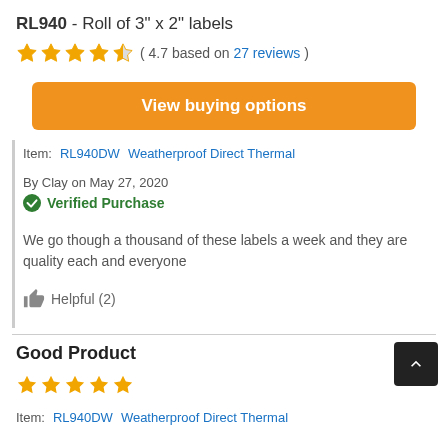RL940 - Roll of 3" x 2" labels
( 4.7 based on 27 reviews )
View buying options
Item: RL940DW   Weatherproof Direct Thermal
By Clay on May 27, 2020
Verified Purchase
We go though a thousand of these labels a week and they are quality each and everyone
Helpful (2)
Good Product
Item:   RL940DW   Weatherproof Direct Thermal